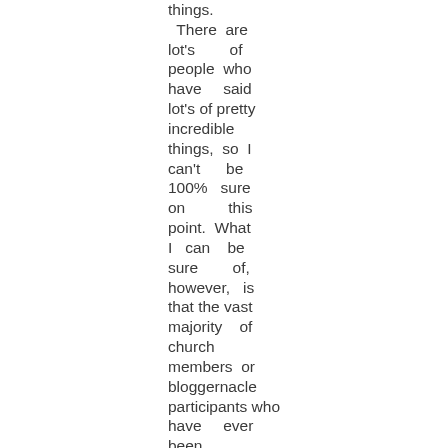things. There are lot's of people who have said lot's of pretty incredible things, so I can't be 100% sure on this point. What I can be sure of, however, is that the vast majority of church members or bloggernacle participants who have ever been accused of teaching these things have not, in